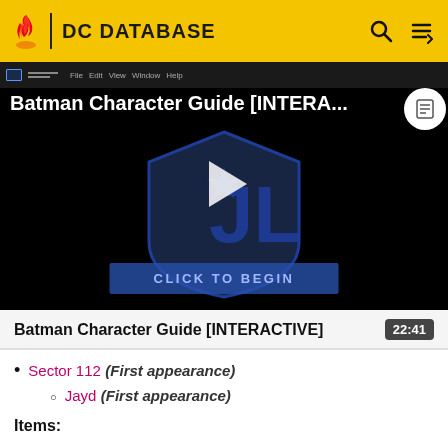DC DATABASE
[Figure (screenshot): Batman Character Guide [INTERACTIVE] video thumbnail with play button and 'CLICK TO BEGIN' button on dark background with Justice League logo]
Batman Character Guide [INTERACTIVE]
22:41
Sector 112 (First appearance)
Jayd (First appearance)
Items: